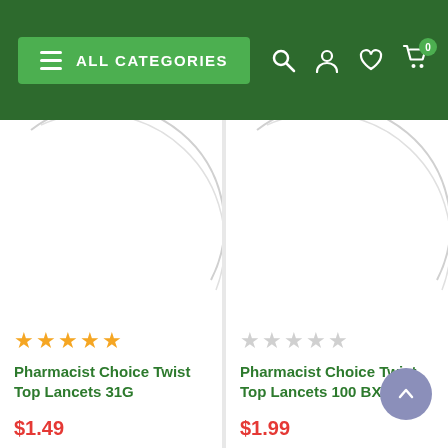ALL CATEGORIES
[Figure (screenshot): Product card for Pharmacist Choice Twist Top Lancets 31G with 5-star rating, price $1.49]
[Figure (screenshot): Product card for Pharmacist Choice Twist Top Lancets 100 BX 33G with 0-star rating, price $1.99]